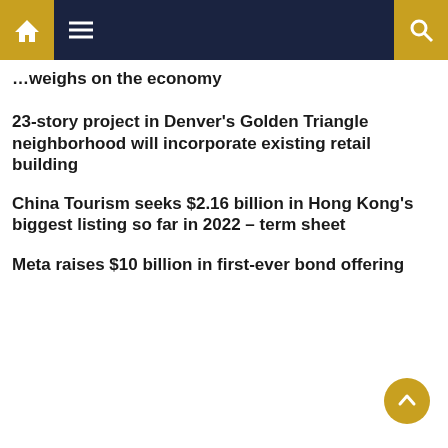Navigation bar with home, menu, and search icons
… weighs on the economy
23-story project in Denver's Golden Triangle neighborhood will incorporate existing retail building
China Tourism seeks $2.16 billion in Hong Kong's biggest listing so far in 2022 – term sheet
Meta raises $10 billion in first-ever bond offering